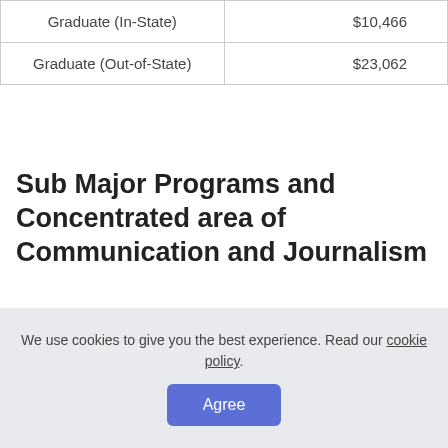|  |  |
| --- | --- |
| Graduate (In-State) | $10,466 |
| Graduate (Out-of-State) | $23,062 |
Sub Major Programs and Concentrated area of Communication and Journalism
Check out sub programs and/or concentrated Communication and Journalism programs.
We use cookies to give you the best experience. Read our cookie policy.